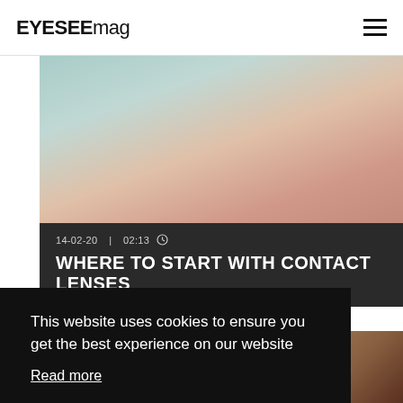EYESEEmag
[Figure (photo): Close-up photo of a person inserting a contact lens into their eye, fingers near the eye, teal/skin tone background]
14-02-20  |  02:13
WHERE TO START WITH CONTACT LENSES
This website uses cookies to ensure you get the best experience on our website
Read more
Agree
[Figure (photo): Partial photo of a person at the bottom of the page, warm brown tones]